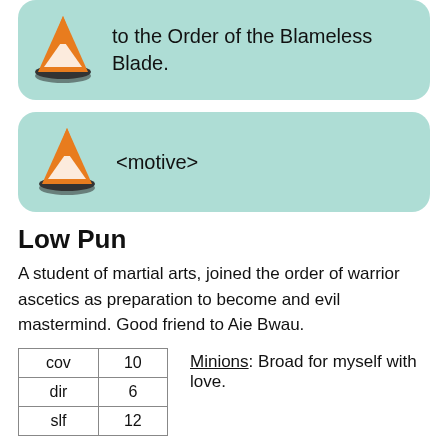[Figure (illustration): Card with VLC cone icon and text: to the Order of the Blameless Blade.]
[Figure (illustration): Card with VLC cone icon and text: <motive>]
Low Pun
A student of martial arts, joined the order of warrior ascetics as preparation to become and evil mastermind. Good friend to Aie Bwau.
| cov | 10 |
| dir | 6 |
| slf | 12 |
Minions: Broad for myself with love.